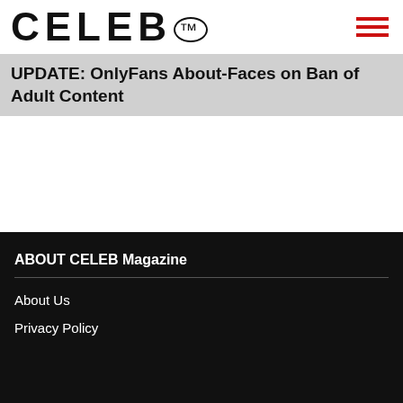CELEB™
UPDATE: OnlyFans About-Faces on Ban of Adult Content
ABOUT CELEB Magazine
About Us
Privacy Policy